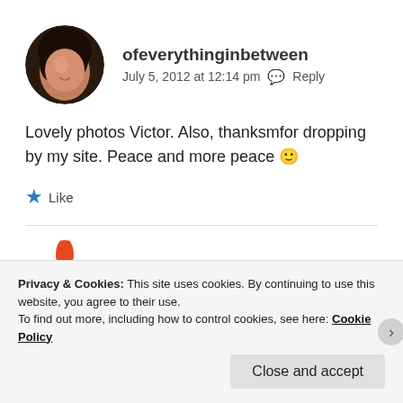[Figure (photo): Circular avatar photo of a young woman with dark hair]
ofeverythinginbetween
July 5, 2012 at 12:14 pm  Reply
Lovely photos Victor. Also, thanksmfor dropping by my site. Peace and more peace 🙂
★ Like
[Figure (photo): Circular avatar with orange/white starburst logo, partially visible]
Privacy & Cookies: This site uses cookies. By continuing to use this website, you agree to their use.
To find out more, including how to control cookies, see here: Cookie Policy
Close and accept